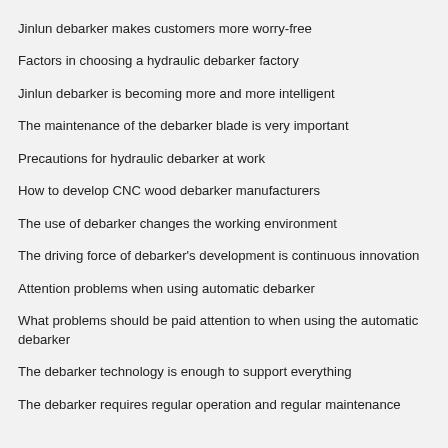Jinlun debarker makes customers more worry-free
Factors in choosing a hydraulic debarker factory
Jinlun debarker is becoming more and more intelligent
The maintenance of the debarker blade is very important
Precautions for hydraulic debarker at work
How to develop CNC wood debarker manufacturers
The use of debarker changes the working environment
The driving force of debarker's development is continuous innovation
Attention problems when using automatic debarker
What problems should be paid attention to when using the automatic debarker
The debarker technology is enough to support everything
The debarker requires regular operation and regular maintenance